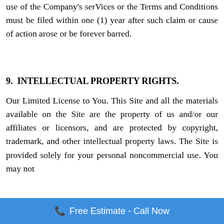use of the Company's services or the Terms and Conditions must be filed within one (1) year after such claim or cause of action arose or be forever barred.
9.  INTELLECTUAL PROPERTY RIGHTS.
Our Limited License to You. This Site and all the materials available on the Site are the property of us and/or our affiliates or licensors, and are protected by copyright, trademark, and other intellectual property laws. The Site is provided solely for your personal noncommercial use. You may not
Free Estimate - Call Now